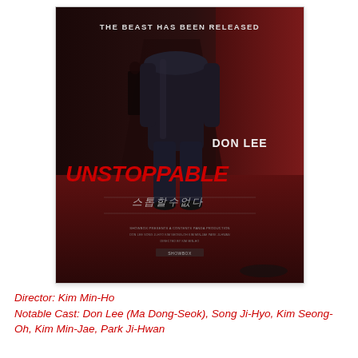[Figure (photo): Movie poster for 'Unstoppable' (Korean action film) featuring Don Lee (Ma Dong-Seok). Shows a figure in a dark jacket viewed from behind walking down a corridor with a red-lit room. Text reads 'THE BEAST HAS BEEN RELEASED' at the top, 'DON LEE' and 'UNSTOPPABLE' in large red letters in the lower half, with Korean title below and small credits at the bottom.]
Director: Kim Min-Ho
Notable Cast: Don Lee (Ma Dong-Seok), Song Ji-Hyo, Kim Seong-Oh, Kim Min-Jae, Park Ji-Hwan